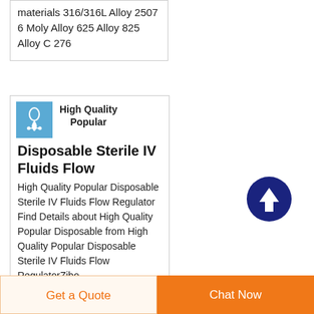materials 316/316L Alloy 2507 6 Moly Alloy 625 Alloy 825 Alloy C 276
High Quality Popular Disposable Sterile IV Fluids Flow
High Quality Popular Disposable Sterile IV Fluids Flow Regulator Find Details about High Quality Popular Disposable from High Quality Popular Disposable Sterile IV Fluids Flow RegulatorZibo
[Figure (illustration): Blue square icon with white medical/flow device illustration]
Get a Quote
Chat Now